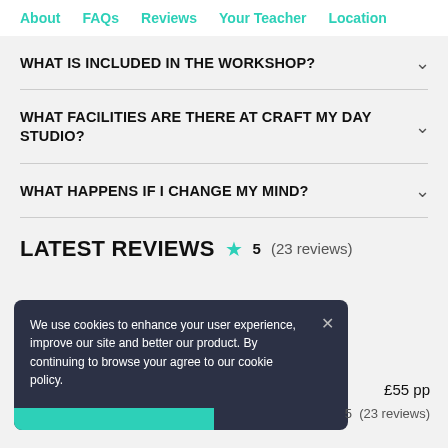About  FAQs  Reviews  Your Teacher  Location
WHAT IS INCLUDED IN THE WORKSHOP?
WHAT FACILITIES ARE THERE AT CRAFT MY DAY STUDIO?
WHAT HAPPENS IF I CHANGE MY MIND?
LATEST REVIEWS
5 (23 reviews)
We use cookies to enhance your user experience, improve our site and better our product. By continuing to browse your agree to our cookie policy.
£55 pp
5 (23 reviews)